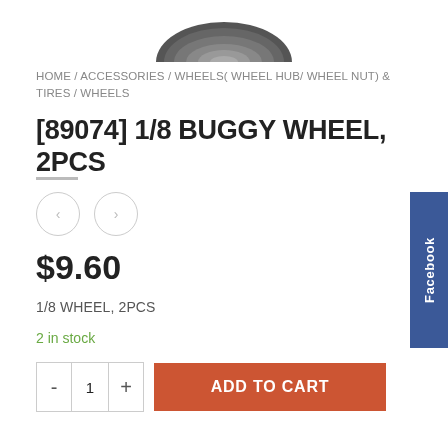[Figure (photo): Partial view of a dark grey RC buggy wheel photographed from above against a white background]
HOME / ACCESSORIES / WHEELS( WHEEL HUB/ WHEEL NUT) & TIRES / WHEELS
[89074] 1/8 BUGGY WHEEL, 2PCS
$9.60
1/8 WHEEL, 2PCS
2 in stock
ADD TO CART